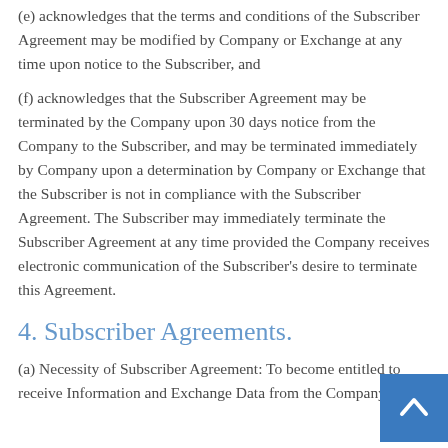(e) acknowledges that the terms and conditions of the Subscriber Agreement may be modified by Company or Exchange at any time upon notice to the Subscriber, and
(f) acknowledges that the Subscriber Agreement may be terminated by the Company upon 30 days notice from the Company to the Subscriber, and may be terminated immediately by Company upon a determination by Company or Exchange that the Subscriber is not in compliance with the Subscriber Agreement. The Subscriber may immediately terminate the Subscriber Agreement at any time provided the Company receives electronic communication of the Subscriber's desire to terminate this Agreement.
4. Subscriber Agreements.
(a) Necessity of Subscriber Agreement: To become entitled to receive Information and Exchange Data from the Company as a